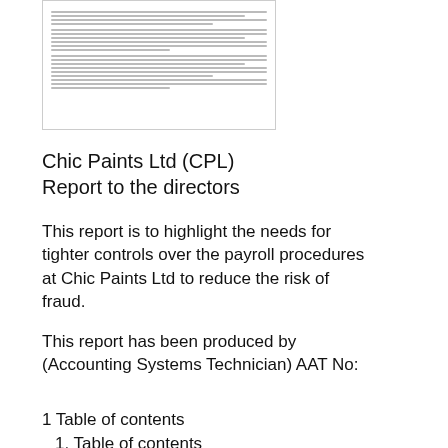[Figure (illustration): A document image placeholder showing horizontal lines of grey text simulating a page of Lorem Ipsum body text.]
Chic Paints Ltd (CPL)
Report to the directors
This report is to highlight the needs for tighter controls over the payroll procedures at Chic Paints Ltd to reduce the risk of fraud.
This report has been produced by (Accounting Systems Technician) AAT No:
1 Table of contents
1. Table of contents